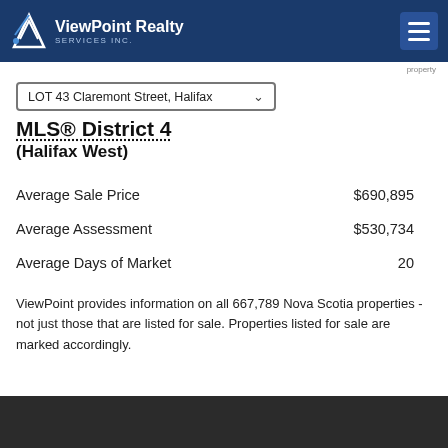ViewPoint Realty Services Inc.
MLS® District 4
(Halifax West)
|  |  |
| --- | --- |
| Average Sale Price | $690,895 |
| Average Assessment | $530,734 |
| Average Days of Market | 20 |
ViewPoint provides information on all 667,789 Nova Scotia properties - not just those that are listed for sale. Properties listed for sale are marked accordingly.